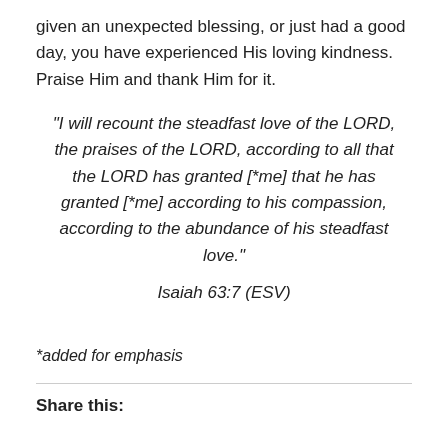given an unexpected blessing, or just had a good day, you have experienced His loving kindness. Praise Him and thank Him for it.
“I will recount the steadfast love of the LORD, the praises of the LORD, according to all that the LORD has granted [*me] that he has granted [*me] according to his compassion, according to the abundance of his steadfast love.”
Isaiah 63:7 (ESV)
*added for emphasis
Share this: